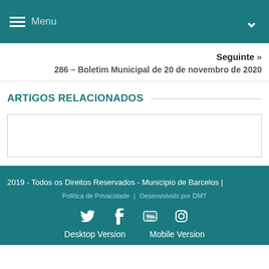Menu
Seguinte »
286 – Boletim Municipal de 20 de novembro de 2020
ARTIGOS RELACIONADOS
2019 - Todos os Direitos Reservados - Município de Barcelos | Política de Privacidade | Desenvolvido por DMT
Desktop Version   Mobile Version